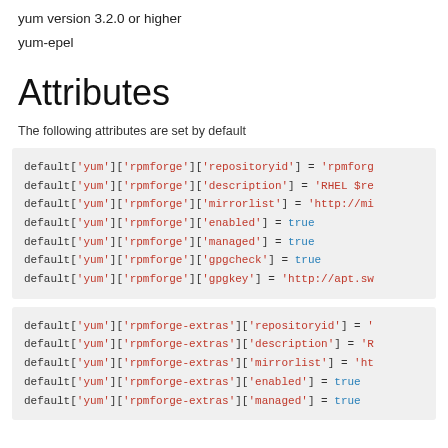yum version 3.2.0 or higher
yum-epel
Attributes
The following attributes are set by default
[Figure (screenshot): Code block showing default['yum']['rpmforge'] attribute assignments including repositoryid, description, mirrorlist, enabled, managed, gpgcheck, gpgkey]
[Figure (screenshot): Code block showing default['yum']['rpmforge-extras'] attribute assignments including repositoryid, description, mirrorlist, enabled, managed]